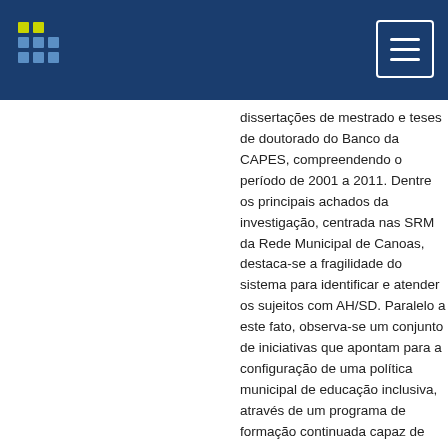Header bar with logo and menu button
dissertações de mestrado e teses de doutorado do Banco da CAPES, compreendendo o período de 2001 a 2011. Dentre os principais achados da investigação, centrada nas SRM da Rede Municipal de Canoas, destaca-se a fragilidade do sistema para identificar e atender os sujeitos com AH/SD. Paralelo a este fato, observa-se um conjunto de iniciativas que apontam para a configuração de uma política municipal de educação inclusiva, através de um programa de formação continuada capaz de subsidiar e contribuir com a ação docente. The present study aimed to investigate how teachers of Rooms Multifunctional Resources of the Municipal School of Canoas/RS, administer the theme of abilities. This work is inserted in the